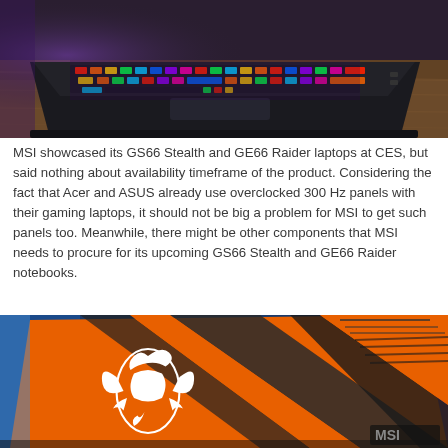[Figure (photo): MSI gaming laptop with RGB backlit keyboard viewed from slightly above, sitting on a wooden surface in a dark room with purple/blue ambient lighting.]
MSI showcased its GS66 Stealth and GE66 Raider laptops at CES, but said nothing about availability timeframe of the product. Considering the fact that Acer and ASUS already use overclocked 300 Hz panels with their gaming laptops, it should not be big a problem for MSI to get such panels too. Meanwhile, there might be other components that MSI needs to procure for its upcoming GS66 Stealth and GE66 Raider notebooks.
[Figure (photo): MSI laptop lid with orange and dark grey design featuring a white MSI dragon logo, viewed from an angle showing the back of the display.]